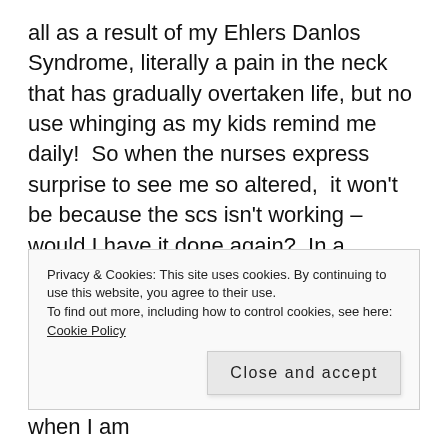all as a result of my Ehlers Danlos Syndrome, literally a pain in the neck that has gradually overtaken life, but no use whinging as my kids remind me daily!  So when the nurses express surprise to see me so altered,  it won't be because the scs isn't working – would I have it done again?  In a heartbeat as it has given me  a way to manage some of the pain.
But I am hoping that with their little box of tricks, that looks very like a mechanics electronics box for
Privacy & Cookies: This site uses cookies. By continuing to use this website, you agree to their use.
To find out more, including how to control cookies, see here: Cookie Policy
get rid of the rust, but will report back when I am